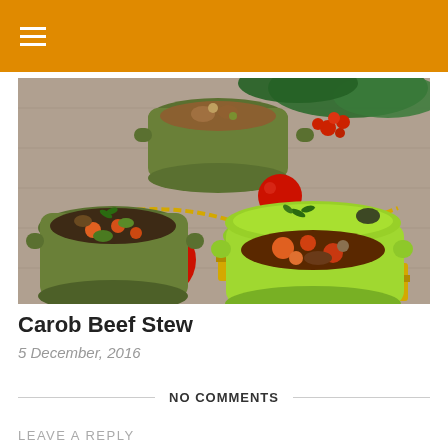[Figure (photo): Food photo showing colorful Dutch ovens/casserole pots filled with beef stew, surrounded by Christmas decorations including red ornament balls, gold gift boxes, red berries, pine branches, and gold bead garland on a wooden table surface.]
Carob Beef Stew
5 December, 2016
NO COMMENTS
LEAVE A REPLY